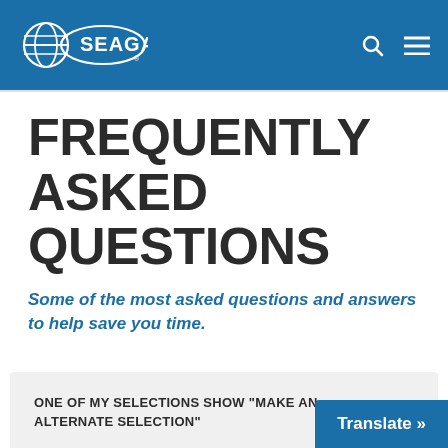SEAGA
FREQUENTLY ASKED QUESTIONS
Some of the most asked questions and answers to help save you time.
ONE OF MY SELECTIONS SHOW “MAKE AN ALTERNATE SELECTION”
Try clearing error in the program or count reconnect the motor link in the programm